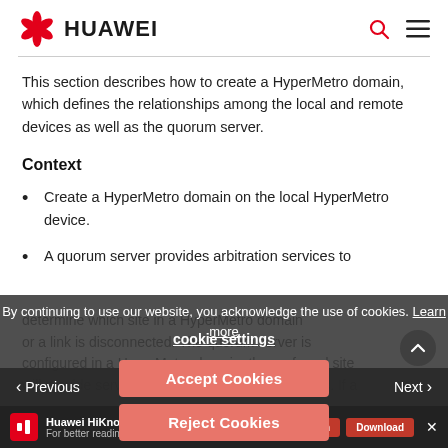HUAWEI
This section describes how to create a HyperMetro domain, which defines the relationships among the local and remote devices as well as the quorum server.
Context
Create a HyperMetro domain on the local HyperMetro device.
A quorum server provides arbitration services to determine which site in a HyperMetro domain or a link is disconnected. The quorum server is configured in a HyperMetro domain, the preferred site will provide services by default after a fault occurs. If a
By continuing to use our website, you acknowledge the use of cookies. Learn more
cookie settings
Accept Cookies
Reject Cookies
< Previous   Next >